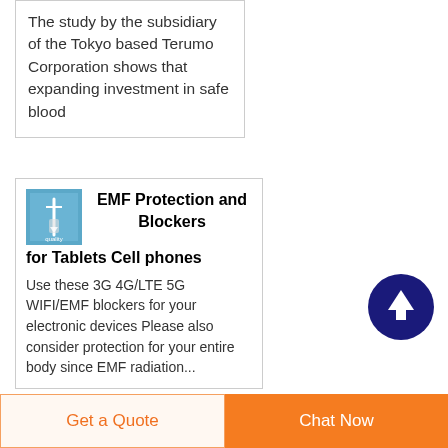The study by the subsidiary of the Tokyo based Terumo Corporation shows that expanding investment in safe blood
[Figure (photo): Small thumbnail image with blue/teal background, possibly showing a medical device or needle]
EMF Protection and Blockers for Tablets Cell phones
Use these 3G 4G/LTE 5G WIFI/EMF blockers for your electronic devices Please also consider protection for your entire body since EMF radiation...
Get a Quote
Chat Now